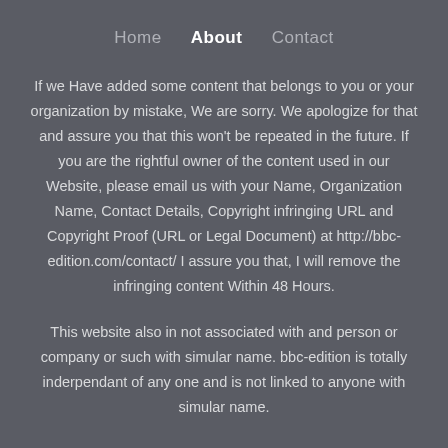Home   About   Contact
If we Have added some content that belongs to you or your organization by mistake, We are sorry. We apologize for that and assure you that this won't be repeated in the future. If you are the rightful owner of the content used in our Website, please email us with your Name, Organization Name, Contact Details, Copyright infringing URL and Copyright Proof (URL or Legal Document) at http://bbc-edition.com/contact/ I assure you that, I will remove the infringing content Within 48 Hours.
This website also in not associated with and person or company or such with simular name. bbc-edition is totally inderpendant of any one and is not linked to anyone with simular name.